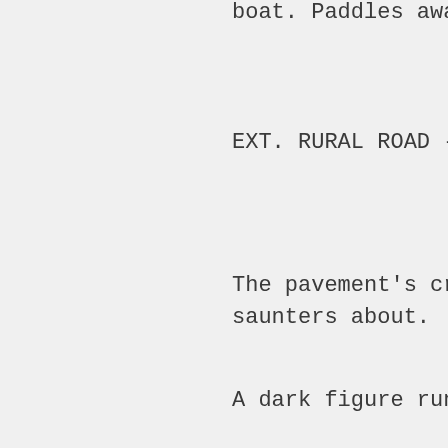boat.  Paddles awa
EXT. RURAL ROAD -
The pavement's cra saunters about.
A dark figure runs
Fatigued, Damian g
Hello?
(bea
Shit!